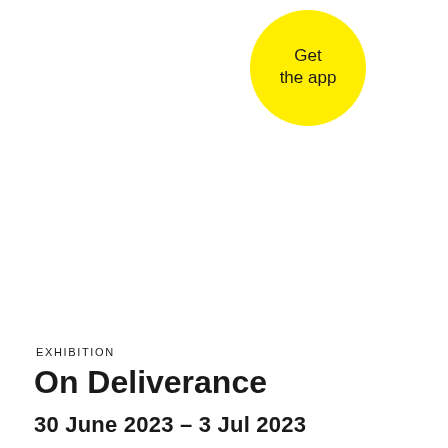[Figure (other): Yellow circle badge with text 'Get the app' in dark color, positioned in upper right area of the page]
EXHIBITION
On Deliverance
30 June 2023 – 3 Jul 2023